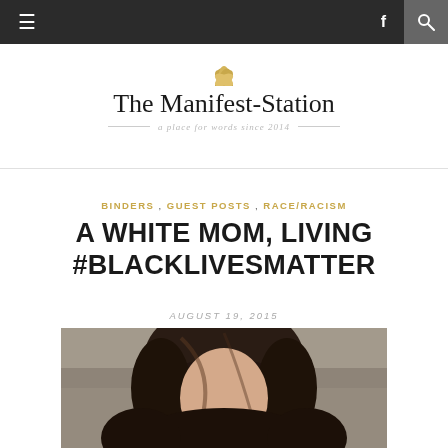The Manifest-Station — a place for words since 2014
BINDERS , GUEST POSTS , RACE/RACISM
A WHITE MOM, LIVING #BLACKLIVESMATTER
AUGUST 19, 2015
[Figure (photo): Portrait photo of a woman with dark hair, cropped showing head and shoulders, outdoor background]